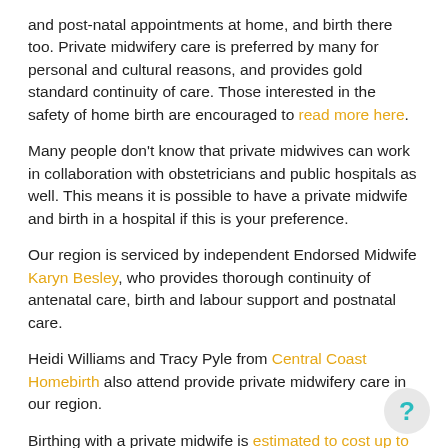and post-natal appointments at home, and birth there too. Private midwifery care is preferred by many for personal and cultural reasons, and provides gold standard continuity of care. Those interested in the safety of home birth are encouraged to read more here.
Many people don't know that private midwives can work in collaboration with obstetricians and public hospitals as well. This means it is possible to have a private midwife and birth in a hospital if this is your preference.
Our region is serviced by independent Endorsed Midwife Karyn Besley, who provides thorough continuity of antenatal care, birth and labour support and postnatal care.
Heidi Williams and Tracy Pyle from Central Coast Homebirth also attend provide private midwifery care in our region.
Birthing with a private midwife is estimated to cost up to around $6000, inclusive of all appointments pre- and post-natally.